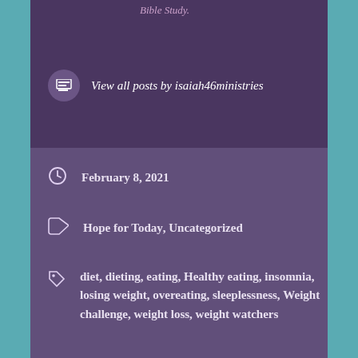Bible Study.
View all posts by isaiah46ministries
February 8, 2021
Hope for Today, Uncategorized
diet, dieting, eating, Healthy eating, insomnia, losing weight, overeating, sleeplessness, Weight challenge, weight loss, weight watchers
A Joyful Place: What Do You See #68
Share Your World, February 8, 2021
4 thoughts on “Sleeplessness Leads to